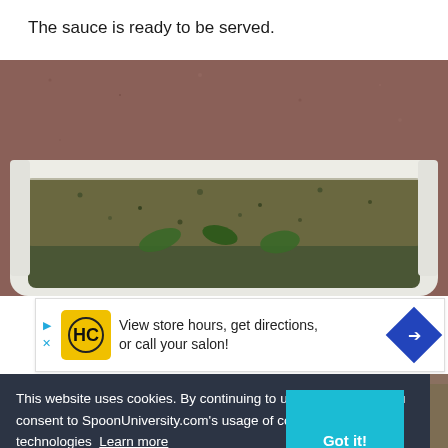The sauce is ready to be served.
[Figure (photo): Close-up overhead photo of a white rectangular dish/bowl containing a dark green herbed sauce, placed on a brownish-red textured surface.]
[Figure (infographic): Advertisement banner: HC (Hair Club) logo in yellow square, text 'View store hours, get directions, or call your salon!', blue diamond arrow icon on right.]
This website uses cookies. By continuing to use this website, you consent to SpoonUniversity.com's usage of cookies and similar technologies  Learn more
[Figure (screenshot): Got it! button in cyan/teal blue color, part of cookie consent bar.]